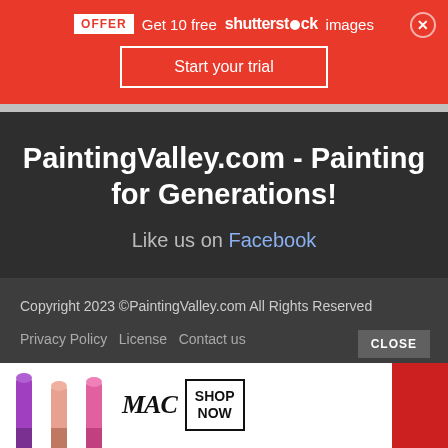OFFER Get 10 free shutterstock images
Start your trial
PaintingValley.com - Painting for Generations!
Like us on Facebook
Copyright 2023 ©PaintingValley.com All Rights Reserved
Privacy Policy   License   Contact us
[Figure (photo): MAC cosmetics advertisement showing lipsticks in purple, peach, and pink colors, MAC logo, SHOP NOW button, and red background on right side]
CLOSE